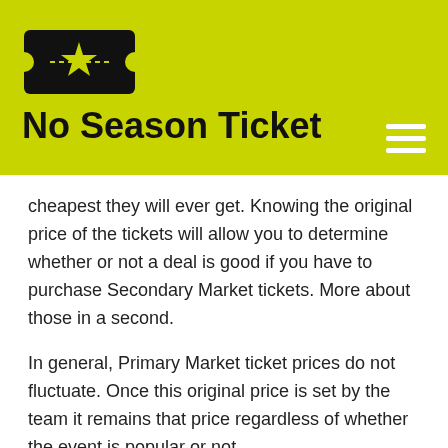[Figure (logo): No Season Ticket website logo: black ticket icon with yellow star on yellow/lime green header bar, with site title 'No Season Ticket' in bold black text]
cheapest they will ever get. Knowing the original price of the tickets will allow you to determine whether or not a deal is good if you have to purchase Secondary Market tickets. More about those in a second.
In general, Primary Market ticket prices do not fluctuate. Once this original price is set by the team it remains that price regardless of whether the event is popular or not.